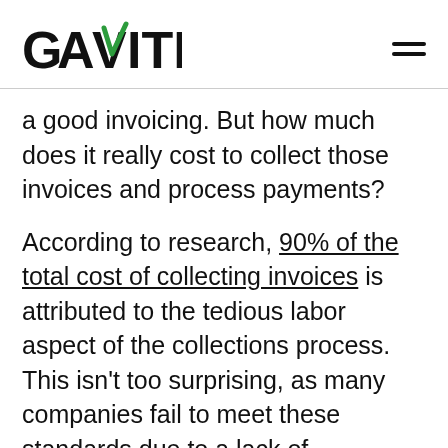GAVITI
a good invoicing. But how much does it really cost to collect those invoices and process payments?
According to research, 90% of the total cost of collecting invoices is attributed to the tedious labor aspect of the collections process. This isn't too surprising, as many companies fail to meet these standards due to a lack of